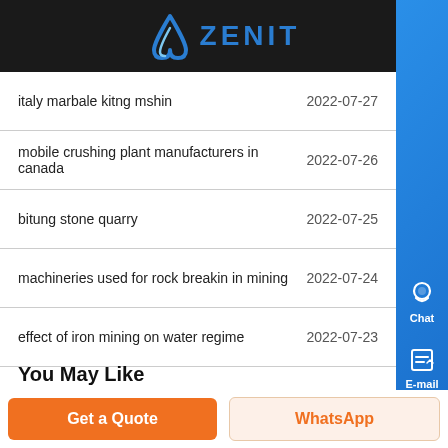ZENIT
italy marbale kitng mshin  2022-07-27
mobile crushing plant manufacturers in canada  2022-07-26
bitung stone quarry  2022-07-25
machineries used for rock breakin in mining  2022-07-24
effect of iron mining on water regime  2022-07-23
cost of setting up a chrome grinding plant  2022-07-22
pencil grinder stone matel type  2022-07-21
You May Like